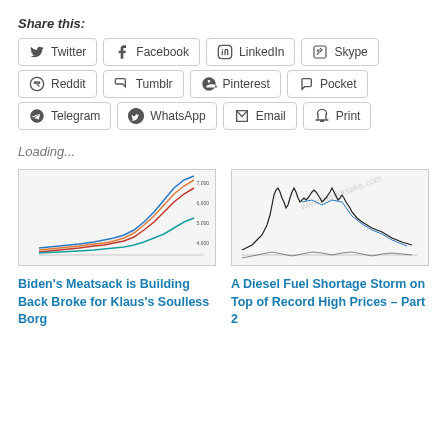Share this:
Twitter
Facebook
LinkedIn
Skype
Reddit
Tumblr
Pinterest
Pocket
Telegram
WhatsApp
Email
Print
Loading...
[Figure (continuous-plot): Line chart showing multiple trend lines, appears to be financial/commodity price data over time]
Biden's Meatsack is Building Back Broke for Klaus's Soulless Borg
[Figure (continuous-plot): Candlestick or line chart showing price data with watermark text, appears to be financial market chart]
A Diesel Fuel Shortage Storm on Top of Record High Prices – Part 2